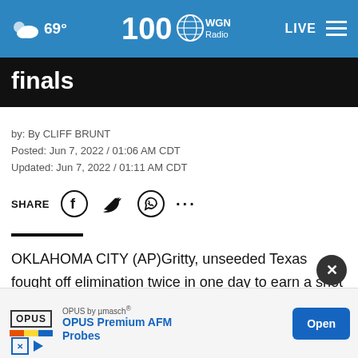69° WGN Radio 100 LIVE
finals
by: By CLIFF BRUNT
Posted: Jun 7, 2022 / 01:06 AM CDT
Updated: Jun 7, 2022 / 01:11 AM CDT
SHARE
OKLAHOMA CITY (AP)Gritty, unseeded Texas fought off elimination twice in one day to earn a shot at a national championship.
Courte... nd straight game – this one sparking a rally from a five-